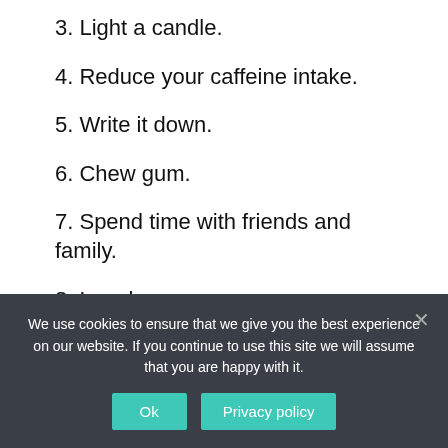3. Light a candle.
4. Reduce your caffeine intake.
5. Write it down.
6. Chew gum.
7. Spend time with friends and family.
8. Laugh.
How does stress affect sport?
[Figure (infographic): Pro-Papers homework help advertisement banner showing brand name, NOW WITH 15% off badge, and ORDER button]
We use cookies to ensure that we give you the best experience on our website. If you continue to use this site we will assume that you are happy with it.